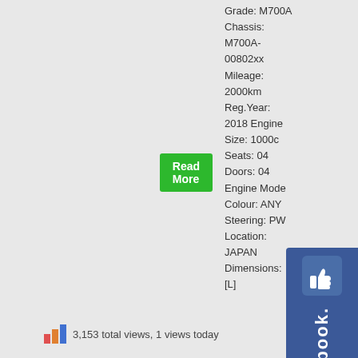Grade: M700A
Chassis: M700A-00802xx
Mileage: 2000km
Reg.Year: 2018 Engine Size: 1000cc
Seats: 04
Doors: 04
Engine Mode
Colour: ANY
Steering: PW
Location: JAPAN
Dimensions: [L]
[Figure (logo): Facebook like/share badge - blue vertical banner with thumbs up icon and 'facebook.' text]
Read More
3,153 total views, 1 views today